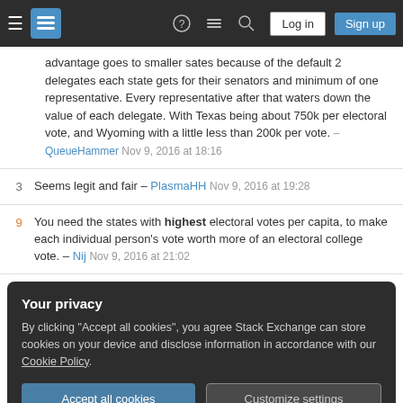Stack Exchange navigation bar with hamburger menu, logo, help, chat, search, Log in, Sign up buttons
advantage goes to smaller sates because of the default 2 delegates each state gets for their senators and minimum of one representative. Every representative after that waters down the value of each delegate. With Texas being about 750k per electoral vote, and Wyoming with a little less than 200k per vote. – QueueHammer Nov 9, 2016 at 18:16
3  Seems legit and fair – PlasmaHH Nov 9, 2016 at 19:28
9  You need the states with highest electoral votes per capita, to make each individual person's vote worth more of an electoral college vote. – Nij Nov 9, 2016 at 21:02
Your privacy
By clicking "Accept all cookies", you agree Stack Exchange can store cookies on your device and disclose information in accordance with our Cookie Policy.
Accept all cookies  Customize settings